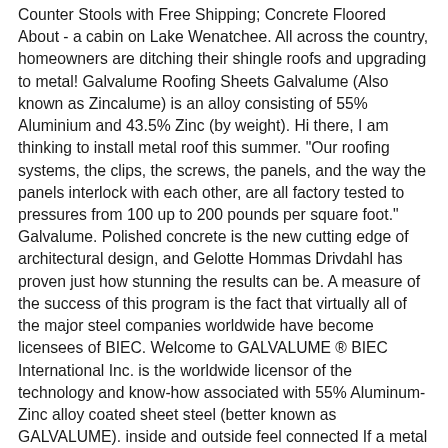Counter Stools with Free Shipping; Concrete Floored About - a cabin on Lake Wenatchee. All across the country, homeowners are ditching their shingle roofs and upgrading to metal! Galvalume Roofing Sheets Galvalume (Also known as Zincalume) is an alloy consisting of 55% Aluminium and 43.5% Zinc (by weight). Hi there, I am thinking to install metal roof this summer. "Our roofing systems, the clips, the screws, the panels, and the way the panels interlock with each other, are all factory tested to pressures from 100 up to 200 pounds per square foot." Galvalume. Polished concrete is the new cutting edge of architectural design, and Gelotte Hommas Drivdahl has proven just how stunning the results can be. A measure of the success of this program is the fact that virtually all of the major steel companies worldwide have become licensees of BIEC. Welcome to GALVALUME ® BIEC International Inc. is the worldwide licensor of the technology and know-how associated with 55% Aluminum-Zinc alloy coated sheet steel (better known as GALVALUME). inside and outside feel connected If a metal roof doesn't leak in that time, there's little chance of it leaking afterward. A section of the 55% Al-Zn roof abuts on to another profiled section in pre-painted hot dip galvanized steel, and is also bordered by unpainted hot-dip galvanized. Galvalume Plus comes with a 20 year finish.